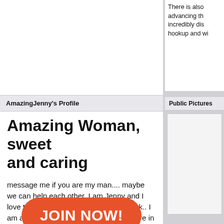[Figure (photo): Top image area - white/blank photo space in left column]
AmazingJenny's Profile
Amazing Woman, sweet and caring
message me if you are my man.... maybe we can help each other. I am Jenny and I love travelling.. I am so busy due to work.. I am a manager in Computer Services here in Cavite.. I have 1 son he's 5years old now.. Please see my pictures.. I am single mother and i want to have my own happy family soon.. I have twin sister.. identical twin rather.. MY dad and Mom Passed away. So i need to strive hard to provide my needs.. I am hardworking -- Graduate of Computer Secretarial.. I am [obscured by button] ve a [obscured] re[obscured] so[obscured] HERE IS III..............
[Figure (other): JOIN NOW! orange button overlay]
There is also advancing th incredibly dis hookup and wi
Public Pictures
[Figure (photo): Public picture box - blank/white image area]